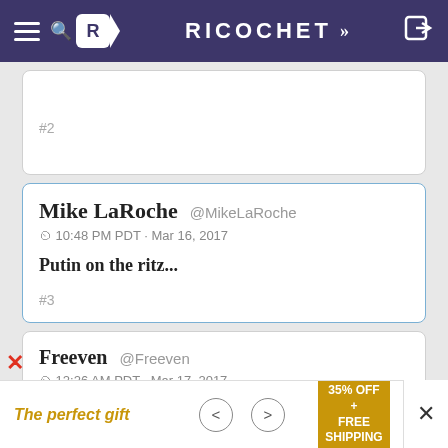RICOCHET
#2
Mike LaRoche @MikeLaRoche
10:48 PM PDT · Mar 16, 2017

Putin on the ritz...

#3
Freeven @Freeven
12:26 AM PDT · Mar 17, 2017
The perfect gift   35% OFF + FREE SHIPPING